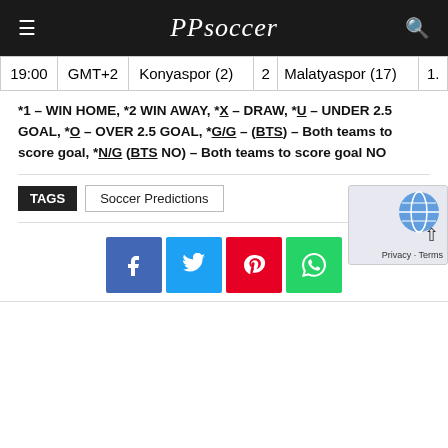PPsoccer
| 19:00 | GMT+2 | Konyaspor (2) | 2 | Malatyaspor (17) | 1. |
| --- | --- | --- | --- | --- | --- |
| 19:00 | GMT+2 | Konyaspor (2) | 2 | Malatyaspor (17) | 1. |
*1 – WIN HOME, *2 WIN AWAY, *X – DRAW, *U – UNDER 2.5 GOAL, *O – OVER 2.5 GOAL, *G/G – (BTS) – Both teams to score goal, *N/G (BTS NO) – Both teams to score goal NO
TAGS  Soccer Predictions
[Figure (other): Social share buttons: Facebook, Twitter, Pinterest, WhatsApp]